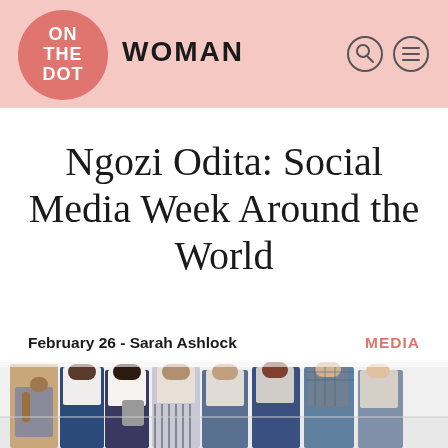ON THE DOT WOMAN
Ngozi Odita: Social Media Week Around the World
February 26 - Sarah Ashlock    MEDIA
[Figure (photo): Group of people standing together against a white wall, photographed from mid-torso down, wearing various casual and business casual outfits]